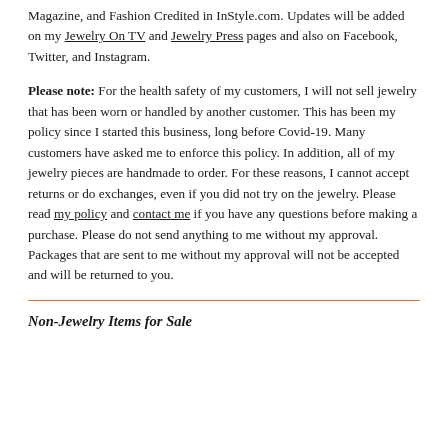Magazine, and Fashion Credited in InStyle.com. Updates will be added on my Jewelry On TV and Jewelry Press pages and also on Facebook, Twitter, and Instagram.
Please note: For the health safety of my customers, I will not sell jewelry that has been worn or handled by another customer. This has been my policy since I started this business, long before Covid-19. Many customers have asked me to enforce this policy. In addition, all of my jewelry pieces are handmade to order. For these reasons, I cannot accept returns or do exchanges, even if you did not try on the jewelry. Please read my policy and contact me if you have any questions before making a purchase. Please do not send anything to me without my approval. Packages that are sent to me without my approval will not be accepted and will be returned to you.
Non-Jewelry Items for Sale